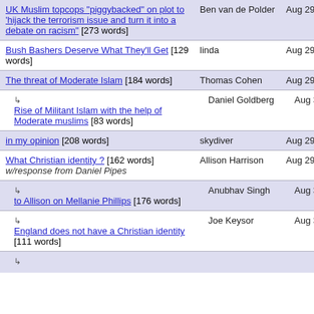| Title | Author | Date |
| --- | --- | --- |
| UK Muslim topcops "piggybacked" on plot to 'hijack the terrorism issue and turn it into a debate on racism' [273 words] | Ben van de Polder | Aug 29, 2006 17:07 |
| Bush Bashers Deserve What They'll Get [129 words] | linda | Aug 29, 2006 16:46 |
| The threat of Moderate Islam [184 words] | Thomas Cohen | Aug 29, 2006 16:35 |
| ↳ Rise of Militant Islam with the help of Moderate muslims [83 words] | Daniel Goldberg | Aug 30, 2006 17:00 |
| in my opinion [208 words] | skydiver | Aug 29, 2006 16:33 |
| What Christian identity ? [162 words] w/response from Daniel Pipes | Allison Harrison | Aug 29, 2006 15:49 |
| ↳ to Allison on Mellanie Phillips [176 words] | Anubhav Singh | Aug 30, 2006 01:33 |
| ↳ England does not have a Christian identity [111 words] | Joe Keysor | Aug 30, 2006 04:17 |